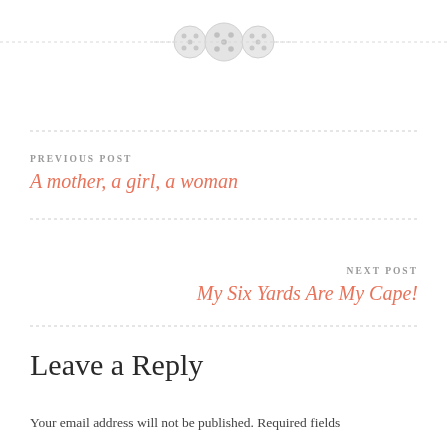[Figure (illustration): Decorative divider with three button icons centered on a dashed horizontal line]
PREVIOUS POST
A mother, a girl, a woman
NEXT POST
My Six Yards Are My Cape!
Leave a Reply
Your email address will not be published. Required fields